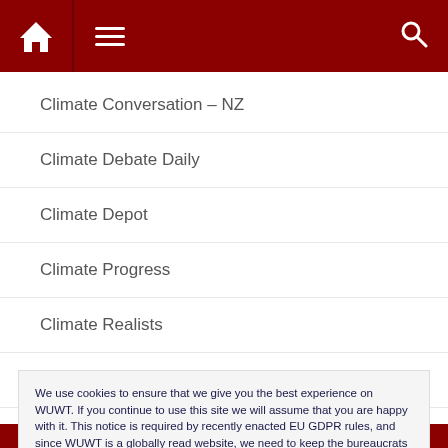Navigation header with home, menu, and search icons
Climate Conversation – NZ
Climate Debate Daily
Climate Depot
Climate Progress
Climate Realists
Climate Realists of Norway
Climate Resistance
Climate Sanity
We use cookies to ensure that we give you the best experience on WUWT. If you continue to use this site we will assume that you are happy with it. This notice is required by recently enacted EU GDPR rules, and since WUWT is a globally read website, we need to keep the bureaucrats off our case! Cookie Policy
Close and accept